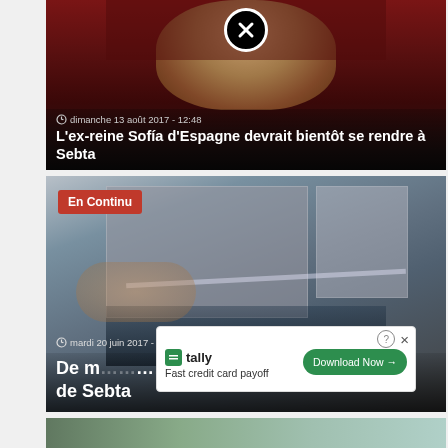[Figure (photo): News card 1: Photo of an elderly woman (ex-queen Sofia of Spain) against a red curtain background, with a black close button overlay]
dimanche 13 août 2017 - 12:48
L'ex-reine Sofía d'Espagne devrait bientôt se rendre à Sebta
[Figure (photo): News card 2: Photo of people carrying large bundles through a border crossing, with building/ramp in background]
En Continu
mardi 20 juin 2017 - 13:29
De m… frontière de Sebta
tally Fast credit card payoff Download Now →
[Figure (photo): Partial news card 3 visible at bottom of page]